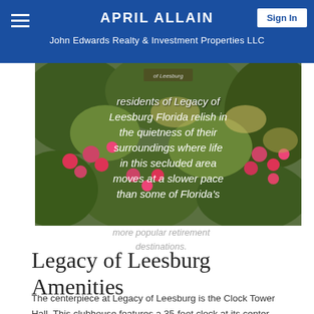APRIL ALLAIN
John Edwards Realty & Investment Properties LLC
[Figure (photo): Photo of flowering plants/garden with italic white text overlay reading: residents of Legacy of Leesburg Florida relish in the quietness of their surroundings where life in this secluded area moves at a slower pace than some of Florida's]
more popular retirement destinations.
Legacy of Leesburg Amenities
The centerpiece at Legacy of Leesburg is the Clock Tower Hall. This clubhouse features a 35-foot clock at its center. Clock Tower Hall is the social hub of activity for the community. It provides the perfect